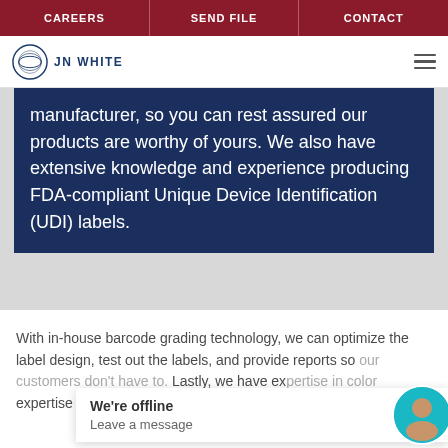CAREERS | SEND FILE | CONTACT
[Figure (logo): JN White logo with circular emblem]
manufacturer, so you can rest assured our products are worthy of yours. We also have extensive knowledge and experience producing FDA-compliant Unique Device Identification (UDI) labels.
With in-house barcode grading technology, we can optimize the label design, test out the labels, and provide reports so our customers don't have to. Lastly, we have expertise in color expertise or the ability to match a device housing
We're offline
Leave a message